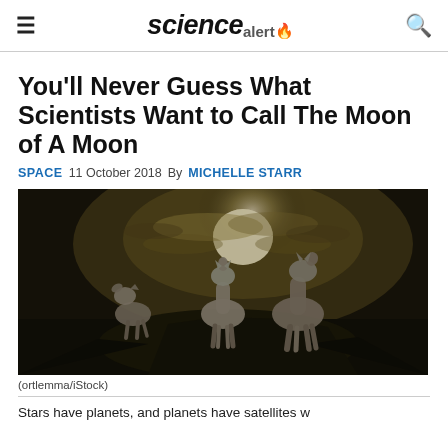sciencealert
You'll Never Guess What Scientists Want to Call The Moon of A Moon
SPACE  11 October 2018  By MICHELLE STARR
[Figure (photo): Three wolves howling at the moon under dramatic cloudy night sky]
(ortlemma/iStock)
Stars have planets, and planets have satellites w...